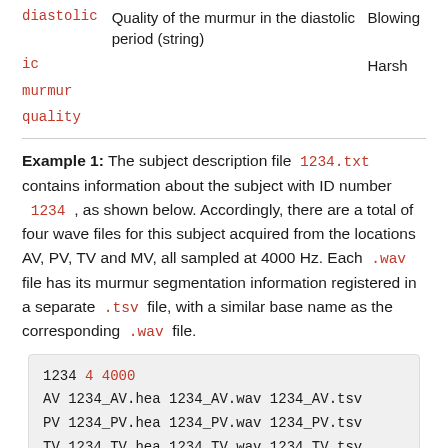| diastolic | Quality of the murmur in the diastolic period (string) | Blowing
Harsh |
| ic |  |  |
| murmur |  |  |
| quality |  |  |
Example 1: The subject description file 1234.txt contains information about the subject with ID number 1234 , as shown below. Accordingly, there are a total of four wave files for this subject acquired from the locations AV, PV, TV and MV, all sampled at 4000 Hz. Each .wav file has its murmur segmentation information registered in a separate .tsv file, with a similar base name as the corresponding .wav file.
1234 4 4000
AV 1234_AV.hea 1234_AV.wav 1234_AV.tsv
PV 1234_PV.hea 1234_PV.wav 1234_PV.tsv
TV 1234_TV.hea 1234_TV.wav 1234_TV.tsv
MV 1234_MV.hea 1234_MV.wav 1234_MV.tsv